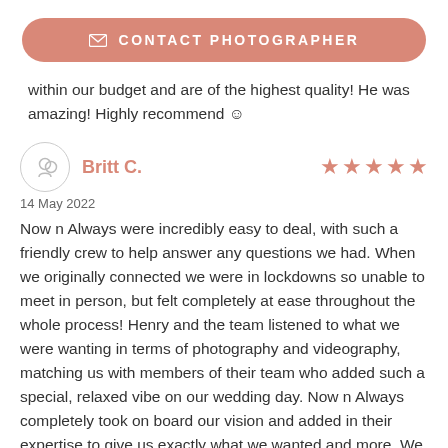[Figure (other): Contact Photographer button - salmon/coral rounded pill button with envelope icon and text 'CONTACT PHOTOGRAPHER']
within our budget and are of the highest quality! He was amazing! Highly recommend ☺
Britt C.
★★★★★
14 May 2022
Now n Always were incredibly easy to deal, with such a friendly crew to help answer any questions we had. When we originally connected we were in lockdowns so unable to meet in person, but felt completely at ease throughout the whole process! Henry and the team listened to what we were wanting in terms of photography and videography, matching us with members of their team who added such a special, relaxed vibe on our wedding day. Now n Always completely took on board our vision and added in their expertise to give us exactly what we wanted and more. We are SO incredibly happy with the amazing images (thousands!!!!) and beautiful video we received - our friends and family